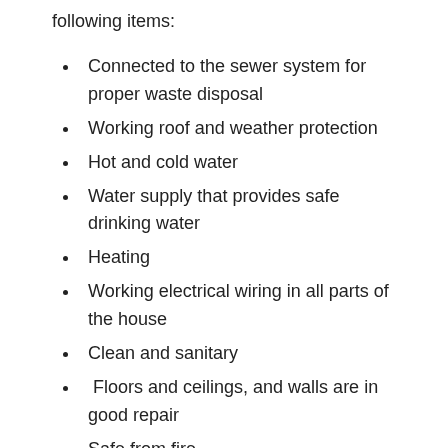following items:
Connected to the sewer system for proper waste disposal
Working roof and weather protection
Hot and cold water
Water supply that provides safe drinking water
Heating
Working electrical wiring in all parts of the house
Clean and sanitary
Floors and ceilings, and walls are in good repair
Safe from fire
Smoke and carbon monoxide alarms that are in good working order
Locks that work
In some states, the wording of the law is that the building